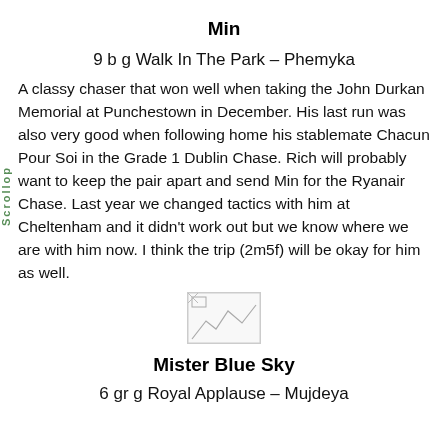Min
9 b g Walk In The Park – Phemyka
A classy chaser that won well when taking the John Durkan Memorial at Punchestown in December. His last run was also very good when following home his stablemate Chacun Pour Soi in the Grade 1 Dublin Chase. Rich will probably want to keep the pair apart and send Min for the Ryanair Chase. Last year we changed tactics with him at Cheltenham and it didn't work out but we know where we are with him now. I think the trip (2m5f) will be okay for him as well.
[Figure (other): Broken image placeholder]
Mister Blue Sky
6 gr g Royal Applause – Mujdeya